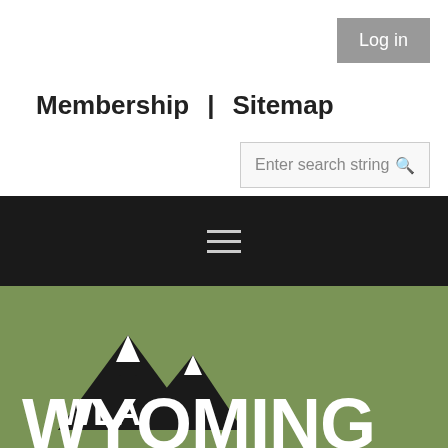Log in
Membership  |  Sitemap
Enter search string
[Figure (logo): WLA Wyoming Library Association logo — black mountain silhouette with two peaks and snow caps, with 'WLA' in bold white text on a black triangle, and 'WYOMING' in large bold white text below, on olive green background]